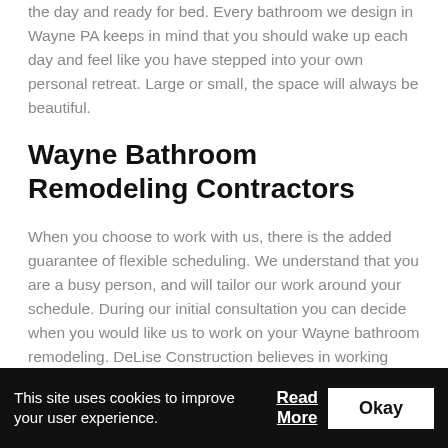the day and ready for bed. Every bathroom we design in Wayne PA keeps in mind that you should wake up each day and feel like you have stepped into your own personal retreat. Large or small, the space will always be beautiful.
Wayne Bathroom Remodeling Contractors
When you choose to work with us, there is the added guarantee of flexible scheduling. We understand that you are a busy person, and will tailor our work around your schedule. During our initial consultation you can decide when you would like us to work on your Wayne bathroom remodeling. DeLise Construction believes in working around the client's schedule so that we are not interrupting your daily life. If you have any questions or concerns, our
This site uses cookies to improve your user experience.
Read More
Okay